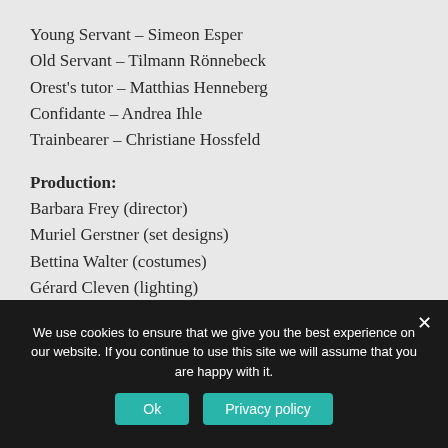Young Servant – Simeon Esper
Old Servant – Tilmann Rönnebeck
Orest's tutor – Matthias Henneberg
Confidante – Andrea Ihle
Trainbearer – Christiane Hossfeld
Production:
Barbara Frey (director)
Muriel Gerstner (set designs)
Bettina Walter (costumes)
Gérard Cleven (lighting)
Micaela von Marcard (dramaturgy)
We use cookies to ensure that we give you the best experience on our website. If you continue to use this site we will assume that you are happy with it.